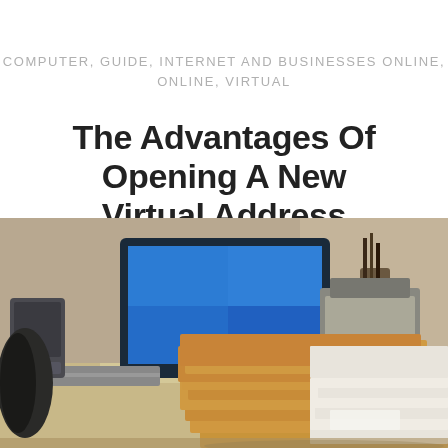COMPUTER, GUIDE, INTERNET AND BUSINESSES ONLINE, ONLINE, VIRTUAL
The Advantages Of Opening A New Virtual Address
[Figure (photo): Office desk scene with a computer monitor in the background and a large stack of manila envelopes and white mail in the foreground, blurred background with office cubicle elements.]